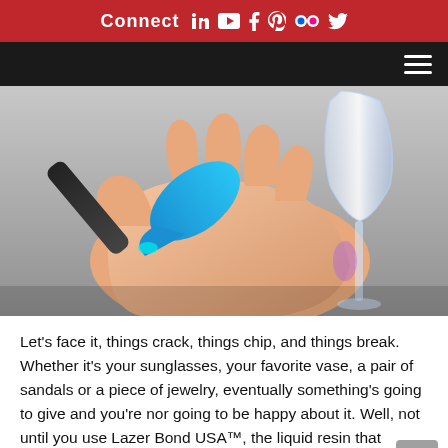Connect (LinkedIn) (YouTube) (Facebook) (Pinterest) (Flickr) (Twitter)
[Figure (photo): A hand holding a blue UV light pen tool aimed at a glass object (appears to be a wine glass stem), demonstrating the Lazer Bond USA liquid resin product in use. Background is gray surface.]
Let's face it, things crack, things chip, and things break. Whether it's your sunglasses, your favorite vase, a pair of sandals or a piece of jewelry, eventually something's going to give and you're nor going to be happy about it. Well, not until you use Lazer Bond USA™, the liquid resin that creates a rock solid [...]